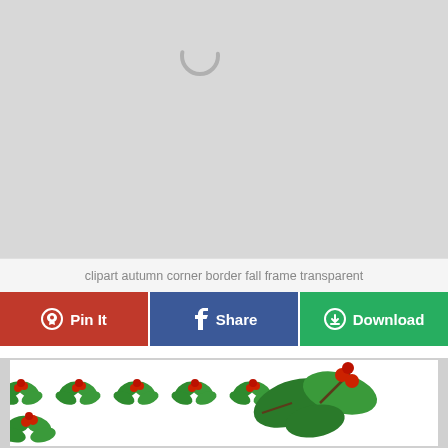[Figure (illustration): Large grey loading placeholder area with a circular spinner/loading indicator at the top center]
clipart autumn corner border fall frame transparent
Pin It  Share  Download
[Figure (illustration): Preview strip showing christmas holly leaf clipart images - small holly sprigs in a row on the left and a large detailed holly leaf with red berries on the right]